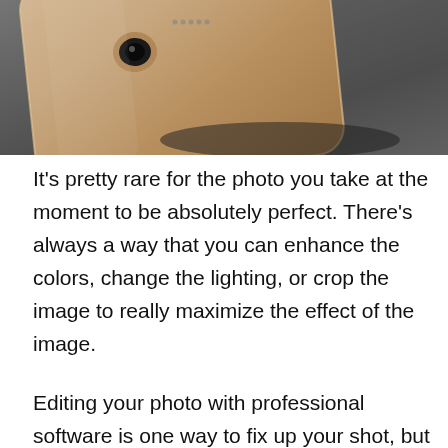[Figure (photo): Close-up photo of the back of a gold/rose gold smartphone (likely iPhone) resting on a dark surface, showing the camera area and speaker grille. The image is cropped showing only the top portion of the device.]
It's pretty rare for the photo you take at the moment to be absolutely perfect. There's always a way that you can enhance the colors, change the lighting, or crop the image to really maximize the effect of the image.
Editing your photo with professional software is one way to fix up your shot, but you can also do minimal editing on your phone as well. Simply click “edit image” on your phone to adjust the photo, overlay filters, play with